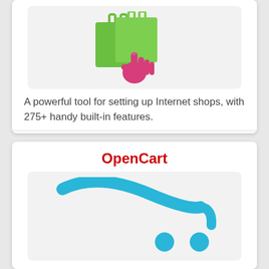[Figure (illustration): Green shopping bag with a pink hand pointer icon clicking on it]
A powerful tool for setting up Internet shops, with 275+ handy built-in features.
Demo  |  Sign Up
OpenCart
[Figure (logo): OpenCart logo: blue stylized shopping cart with two blue wheels]
Turn-key online store. With lots of website